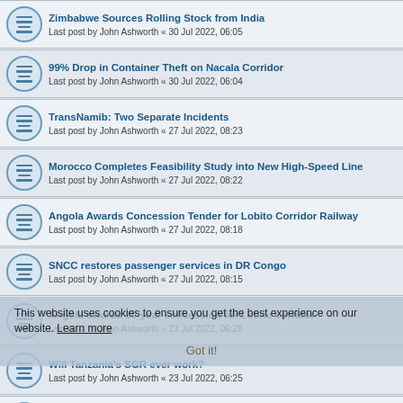Zimbabwe Sources Rolling Stock from India
Last post by John Ashworth « 30 Jul 2022, 06:05
99% Drop in Container Theft on Nacala Corridor
Last post by John Ashworth « 30 Jul 2022, 06:04
TransNamib: Two Separate Incidents
Last post by John Ashworth « 27 Jul 2022, 08:23
Morocco Completes Feasibility Study into New High-Speed Line
Last post by John Ashworth « 27 Jul 2022, 08:22
Angola Awards Concession Tender for Lobito Corridor Railway
Last post by John Ashworth « 27 Jul 2022, 08:18
SNCC restores passenger services in DR Congo
Last post by John Ashworth « 27 Jul 2022, 08:15
Angola awards 30-year concession for Lobito corridor
Last post by John Ashworth « 23 Jul 2022, 06:28
Will Tanzania's SGR ever work?
Last post by John Ashworth « 23 Jul 2022, 06:25
East African ministers eye wider use of rail and waterways
Last post by John Ashworth « 22 Jul 2022, 08:58
Ghana to Sign Agreement for Western Railway Line Project
Last post by John Ashworth « 22 Jul 2022, 08:56
This website uses cookies to ensure you get the best experience on our website. Learn more
Got it!